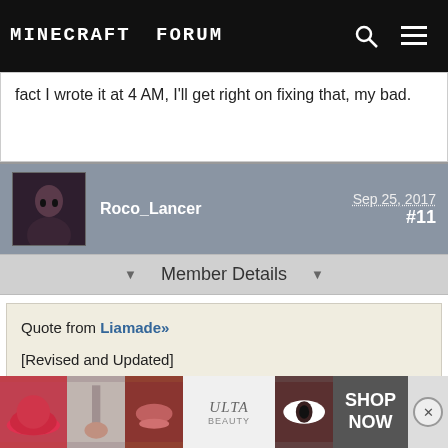Minecraft Forum
fact I wrote it at 4 AM, I'll get right on fixing that, my bad.
Roco_Lancer  Sep 25, 2017  #11
Member Details
Quote from Liamade»
[Revised and Updated]
IGN: Liamade
Have you read and agree to our rules: Yes
Character Name: Katrina Bellamy
Age: 28
Sex: Female
Birthday:
Birthplace: